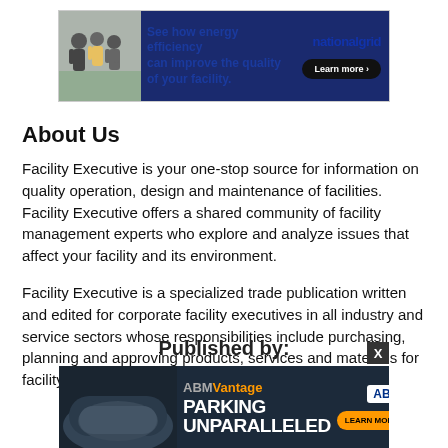[Figure (screenshot): National Grid advertisement banner: people walking outdoors, text 'See how energy efficiency can improve the quality of your facility.' with 'nationalgrid' logo and 'Learn more' button]
About Us
Facility Executive is your one-stop source for information on quality operation, design and maintenance of facilities. Facility Executive offers a shared community of facility management experts who explore and analyze issues that affect your facility and its environment.
Facility Executive is a specialized trade publication written and edited for corporate facility executives in all industry and service sectors whose responsibilities include purchasing, planning and approving products, services and materials for facility operations.
Published by:
[Figure (screenshot): ABM Vantage advertisement banner: car parking image, 'ABMVantage' logo text, 'PARKING UNPARALLELED' headline, ABM logo, 'LEARN MORE' orange button. Has close X button.]